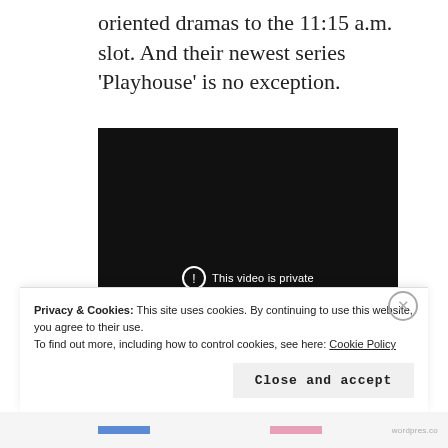oriented dramas to the 11:15 a.m. slot. And their newest series 'Playhouse' is no exception.
[Figure (screenshot): Embedded video player showing a black screen with 'This video is private' message and a circular exclamation icon.]
Privacy & Cookies: This site uses cookies. By continuing to use this website, you agree to their use.
To find out more, including how to control cookies, see here: Cookie Policy
Close and accept